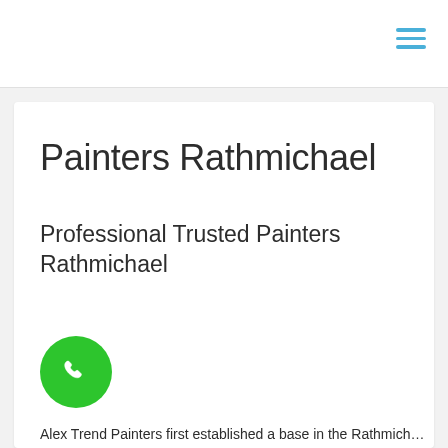Painters Rathmichael
Professional Trusted Painters Rathmichael
[Figure (illustration): Green circular phone/call button icon with white telephone handset symbol]
Alex Trend Painters first established a base in the Rathmichael in